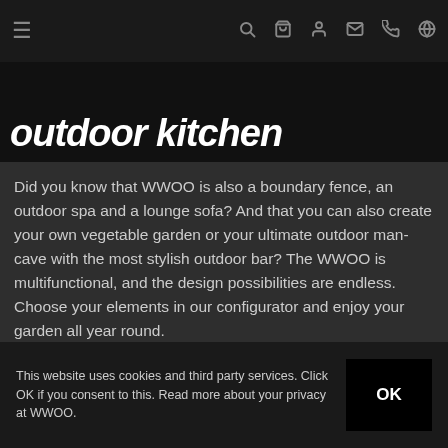≡ 🔍 🛒 👤 ✉ 📞 🌐
[Figure (screenshot): Dark banner image showing partial heading text 'outdoor kitchen' in large bold italic white text on black background]
Did you know that WWOO is also a boundary fence, an outdoor spa and a lounge sofa? And that you can also create your own vegetable garden or your ultimate outdoor man-cave with the most stylish outdoor bar? The WWOO is multifunctional, and the design possibilities are endless. Choose your elements in our configurator and enjoy your garden all year round.
This website uses cookies and third party services. Click OK if you consent to this. Read more about your privacy at WWOO.